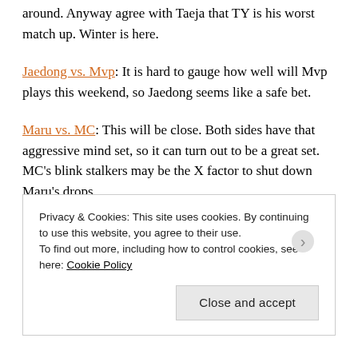around. Anyway agree with Taeja that TY is his worst match up. Winter is here.
Jaedong vs. Mvp: It is hard to gauge how well will Mvp plays this weekend, so Jaedong seems like a safe bet.
Maru vs. MC: This will be close. Both sides have that aggressive mind set, so it can turn out to be a great set. MC’s blink stalkers may be the X factor to shut down Maru’s drops.
INnoVation vs. duckdeok: I doubt anyone will bet on
Privacy & Cookies: This site uses cookies. By continuing to use this website, you agree to their use.
To find out more, including how to control cookies, see here: Cookie Policy
Close and accept